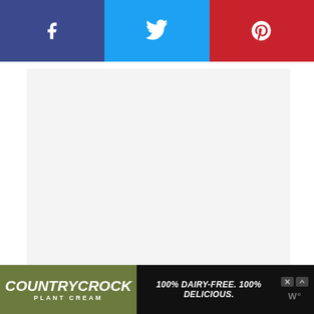[Figure (screenshot): Social media share bar with three buttons: Facebook (dark blue), Twitter (light blue), Pinterest (red), each showing the respective platform icon in white.]
[Figure (screenshot): Main content area: large light gray rectangle placeholder for article/recipe content.]
[Figure (screenshot): Side interaction buttons: upvote chevron button (white circle), vote count 86 in teal, heart/favorite button (white circle), and search button (teal circle).]
[Figure (screenshot): Advertisement banner at bottom: Country Crock Plant Cream ad on dark background. Logo on olive green background, text '100% DAIRY-FREE. 100% DELICIOUS.' in white italic bold, with ad controls and WW logo on right.]